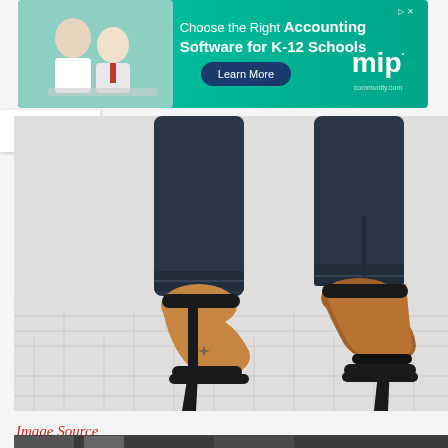[Figure (photo): Advertisement banner: Choose the Right Accounting Software for K-12 Schools. Learn More. mip logo. Teal/green background with students on left.]
[Figure (photo): Close-up photo of a woman's feet wearing black strappy high heel sandals, with dark skinny jeans, walking on a stone/brick pavement. A small tattoo visible on the foot.]
Image Source
[Figure (photo): Partially visible photo at bottom of page, dark toned image.]